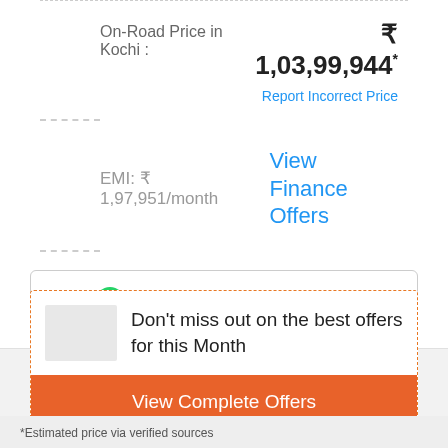On-Road Price in Kochi : ₹ 1,03,99,944*
Report Incorrect Price
EMI: ₹ 1,97,951/month
View Finance Offers
Send this on your WhatsApp
Don't miss out on the best offers for this Month
View Complete Offers
*Estimated price via verified sources